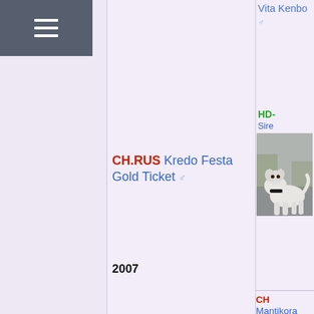[Figure (other): Navigation hamburger menu icon on dark grey background]
Vita Kenbo ♂
HD-
Sire
[Figure (photo): Photo of a white American Staffordshire Terrier dog standing]
CH.RUS Kredo Festa Gold Ticket ♂
2007
HD-
Sire
[Figure (photo): Photo of a brown and white American Staffordshire Terrier dog standing on pavement]
CH Mantikora Kredo Festa ♀
HD-
Dam
[Figure (photo): Partial photo of a dog in outdoor setting]
JCH,CH,GRAND BEL Maximum Staff Alikibumbum